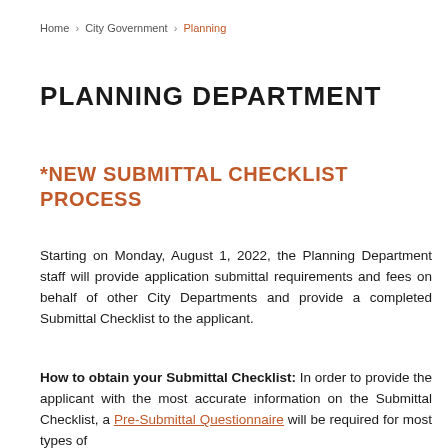Home › City Government › Planning
PLANNING DEPARTMENT
*NEW SUBMITTAL CHECKLIST PROCESS
Starting on Monday, August 1, 2022, the Planning Department staff will provide application submittal requirements and fees on behalf of other City Departments and provide a completed Submittal Checklist to the applicant.
How to obtain your Submittal Checklist: In order to provide the applicant with the most accurate information on the Submittal Checklist, a Pre-Submittal Questionnaire will be required for most types of